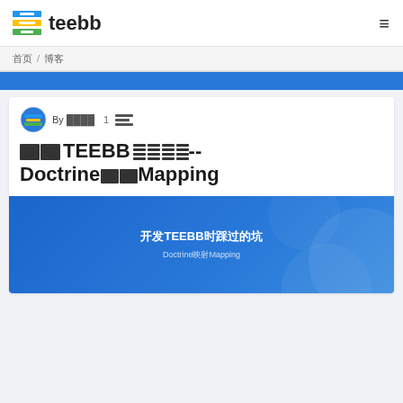teebb
首页 / 博客
开发TEEBB时踩过的坑--Doctrine映射Mapping
By 作者名 1 条评论
[Figure (illustration): Blue slide thumbnail with text '开发TEEBB时踩过的坑' and subtitle 'Doctrine映射Mapping']